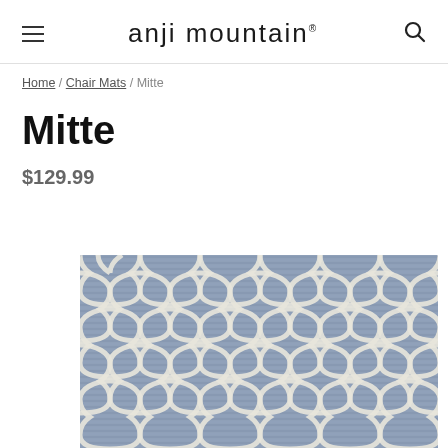anji mountain
Home / Chair Mats / Mitte
Mitte
$129.99
[Figure (photo): Photo of the Mitte rug/chair mat showing a trellis/moroccan lattice pattern in grey-blue and cream/white tones]